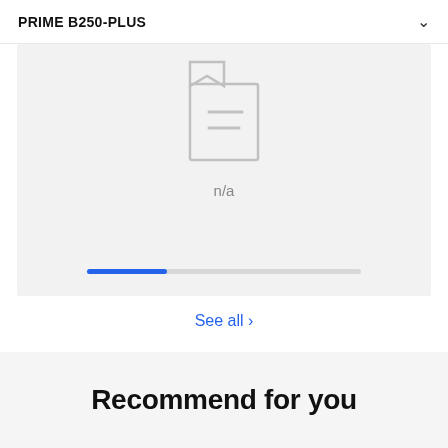PRIME B250-PLUS
[Figure (screenshot): Product image placeholder showing a document/manual icon with two horizontal lines representing text, displayed in light gray on a gray background. Below the icon is the text 'n/a'. At the bottom of the image area is a horizontal progress bar with a blue filled portion on the left and gray unfilled portion on the right.]
See all >
Recommend for you